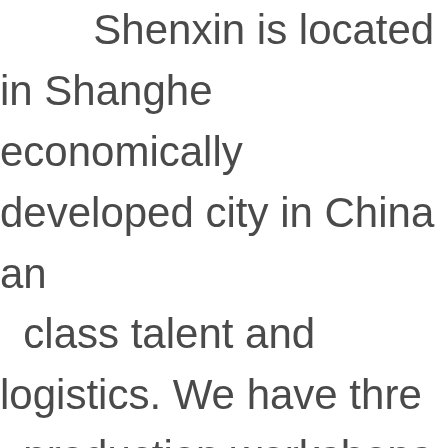Shenxin is located in Shanghai, economically developed city in China and class talent and logistics. We have three production workshops and an administration. We have strong talents. We have a number of engineers and technical experts. We also have engineers from top US manufacturing company has R & D, production, quality sales, after-sales and other departments implementation of flat and efficient management